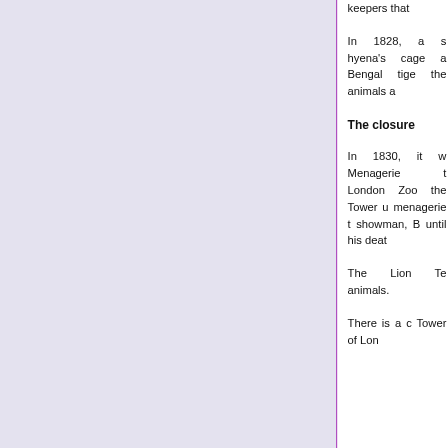keepers that
In 1828, a s hyena's cage a Bengal tige the animals a
The closure
In 1830, it w Menagerie t London Zoo the Tower u menagerie t showman, B until his deat
The Lion To animals.
There is a c Tower of Lon